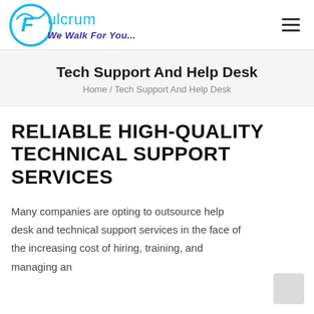[Figure (logo): Fulcrum logo with circular blue icon containing stylized 'F' and text 'Fulcrum We Walk For You...' in blue and purple]
Tech Support And Help Desk
Home / Tech Support And Help Desk
RELIABLE HIGH-QUALITY TECHNICAL SUPPORT SERVICES
Many companies are opting to outsource help desk and technical support services in the face of the increasing cost of hiring, training, and managing an